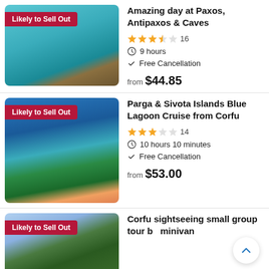[Figure (photo): Aerial view of a boat on turquoise blue water with a 'Likely to Sell Out' badge]
Amazing day at Paxos, Antipaxos & Caves
3.5 stars, 16 reviews
9 hours
Free Cancellation
from $44.85
[Figure (photo): Scenic view of Parga colorful waterfront town with blue water and green trees, 'Likely to Sell Out' badge]
Parga & Sivota Islands Blue Lagoon Cruise from Corfu
3 stars, 14 reviews
10 hours 10 minutes
Free Cancellation
from $53.00
[Figure (photo): Partial view of Corfu landscape with trees and blue sky, 'Likely to Sell Out' badge]
Corfu sightseeing small group tour by minivan